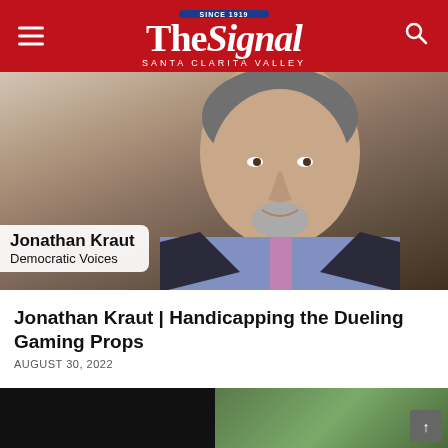The Signal — Santa Clarita Valley
[Figure (photo): Portrait photo of Jonathan Kraut, a middle-aged man with gray hair and a goatee, wearing a dark suit and pink/lavender tie, smiling at the camera. Overlay caption box shows 'Jonathan Kraut / Democratic Voices']
Jonathan Kraut | Handicapping the Dueling Gaming Props
AUGUST 30, 2022
[Figure (photo): Partial photo at bottom of page — left half appears dark/black, right half shows an outdoor green background. A scroll-to-top button is visible in bottom right corner.]